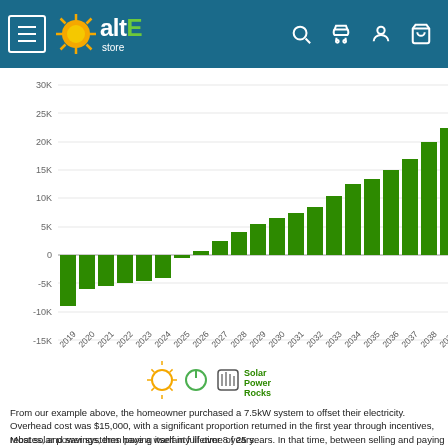altE store
[Figure (bar-chart): Cumulative solar savings 2019–2039]
[Figure (logo): Solar Power Rocks logo with sun, power and music icons]
From our example above, the homeowner purchased a 7.5kW system to offset their electricity. Overhead cost was $15,000, with a significant proportion returned in the first year through incentives, rebates, and savings, then paying itself in full over 8 years.
Most solar power systems have a warranty lifetime of 25 years. In that time, between selling and paying lower rates you could make a profit of around $31,000 - more than twice the cost of the system!
Even with occasional maintenance or part replacement, that is a massive saving...